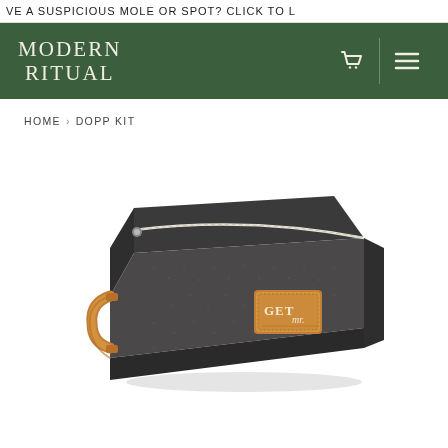VE A SUSPICIOUS MOLE OR SPOT? CLICK TO L
MODERN RITUAL
HOME › DOPP KIT
[Figure (photo): A dark grey/charcoal rectangular dopp kit / toiletry bag with a white zipper along the top, a tan/brown leather handle on the left side, and a small square tan leather patch label reading 'GET Mr.' on the front face. The bag sits on a white background.]